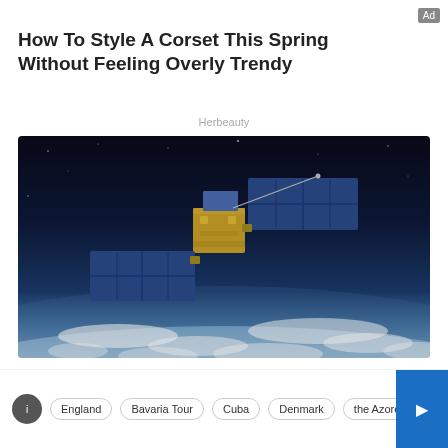Ad
How To Style A Corset This Spring Without Feeling Overly Trendy
Herbeauty
[Figure (photo): A satellite orbiting Earth in space, with solar panels extended, Earth's curved horizon and cloud cover visible below against a dark sky background.]
England | Bavaria Tour | Cuba | Denmark | the Azores | Italy